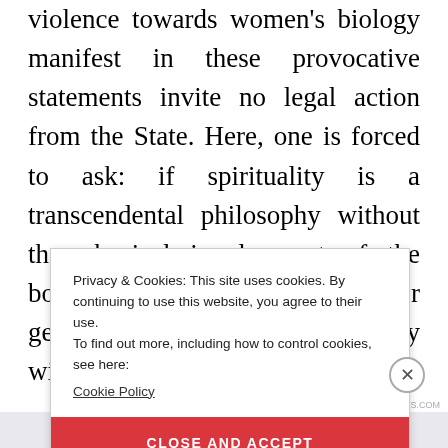violence towards women's biology manifest in these provocative statements invite no legal action from the State. Here, one is forced to ask: if spirituality is a transcendental philosophy without the physical involvement of the body, what is the rationale for gendering and situating spirituality within the
[Figure (screenshot): Cookie consent overlay popup with text 'Privacy & Cookies: This site uses cookies. By continuing to use this website, you agree to their use. To find out more, including how to control cookies, see here: Cookie Policy' and a red 'CLOSE AND ACCEPT' button, with a close (X) circle button in the top right corner.]
[Figure (screenshot): Bottom navigation/share bar with a gradient blue-to-purple share button element and a small watermark text in the bottom right.]